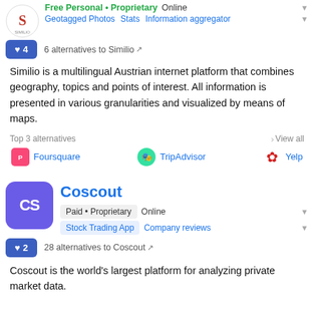[Figure (logo): Similio logo - circular icon with S letter]
Free Personal • Proprietary   Online
Geotagged Photos   Stats   Information aggregator
♥ 4   6 alternatives to Similio
Similio is a multilingual Austrian internet platform that combines geography, topics and points of interest. All information is presented in various granularities and visualized by means of maps.
Top 3 alternatives   › View all
Foursquare   TripAdvisor   Yelp
[Figure (logo): Coscout logo - purple square with CS letters]
Coscout
Paid • Proprietary   Online
Stock Trading App   Company reviews
♥ 2   28 alternatives to Coscout
Coscout is the world's largest platform for analyzing private market data.